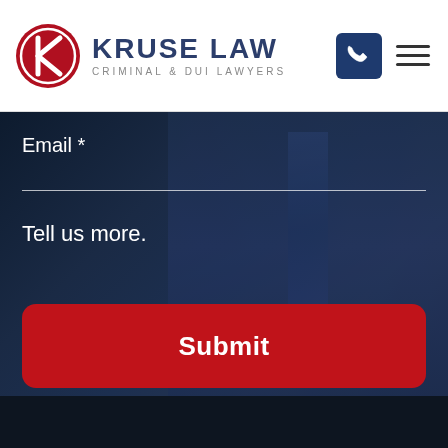[Figure (logo): Kruse Law logo with red K icon and text 'KRUSE LAW CRIMINAL & DUI LAWYERS']
Email *
Tell us more.
Submit